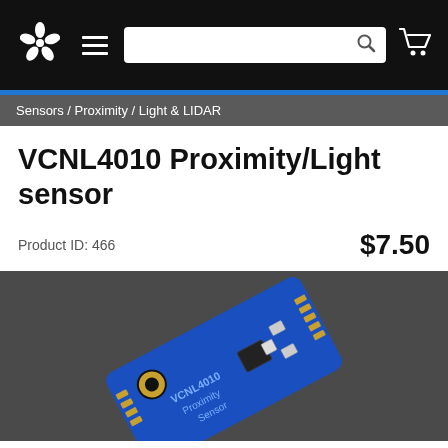Adafruit navigation bar with logo, menu, search, and cart
Sensors / Proximity / Light & LIDAR
VCNL4010 Proximity/Light sensor
Product ID: 466    $7.50
[Figure (photo): Photo of VCNL4010 Proximity Sensor blue PCB board with components, top-down view on dark background]